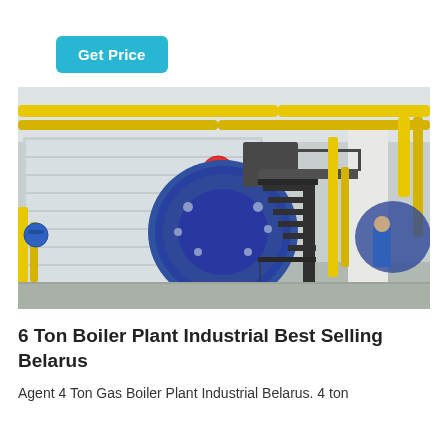Get Price
[Figure (photo): Industrial boiler plant facility showing a large gas/steam boiler unit with a blue circular burner assembly, yellow painted gas pipes running along the ceiling and walls, black metal staircase, and workers in blue uniforms visible in the background. The boiler is labeled with number 4.]
6 Ton Boiler Plant Industrial Best Selling Belarus
Agent 4 Ton Gas Boiler Plant Industrial Belarus. 4 ton